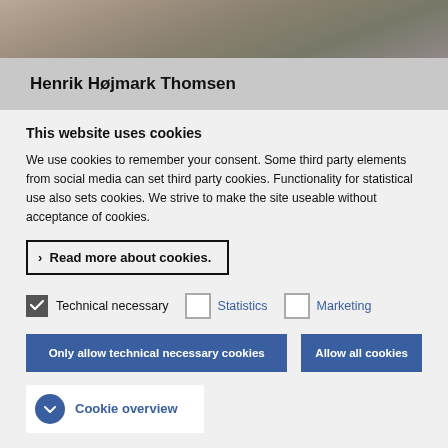[Figure (photo): Partial photo at top of page showing what appears to be a person or animal, cropped]
Henrik Højmark Thomsen
This website uses cookies
We use cookies to remember your consent. Some third party elements from social media can set third party cookies. Functionality for statistical use also sets cookies. We strive to make the site useable without acceptance of cookies.
› Read more about cookies.
Technical necessary  Statistics  Marketing
Only allow technical necessary cookies  Allow all cookies
Cookie overview